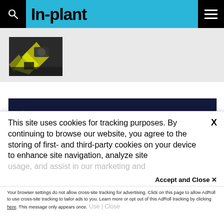In-plant
[Figure (photo): Partial thumbnail of what appears to be a drone or robotic device with yellow and black coloring on a gray background]
[Figure (logo): AdRoll advertising banner with dark navy background and AdRoll logo with orange icon]
This site uses cookies for tracking purposes. By continuing to browse our website, you agree to the storing of first- and third-party cookies on your device to enhance site navigation, analyze site usage, and assist in our marketing and
Accept and Close ✕
Your browser settings do not allow cross-site tracking for advertising. Click on this page to allow AdRoll to use cross-site tracking to tailor ads to you. Learn more or opt out of this AdRoll tracking by clicking here. This message only appears once.